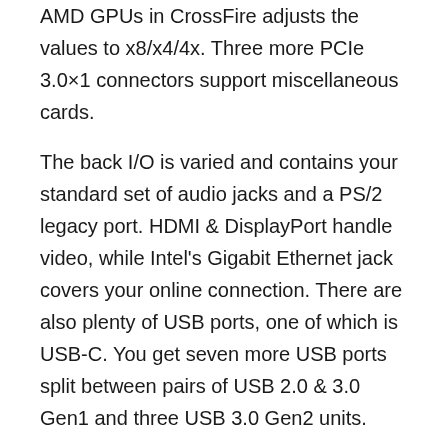AMD GPUs in CrossFire adjusts the values to x8/x4/4x. Three more PCIe 3.0×1 connectors support miscellaneous cards.
The back I/O is varied and contains your standard set of audio jacks and a PS/2 legacy port. HDMI & DisplayPort handle video, while Intel's Gigabit Ethernet jack covers your online connection. There are also plenty of USB ports, one of which is USB-C. You get seven more USB ports split between pairs of USB 2.0 & 3.0 Gen1 and three USB 3.0 Gen2 units.
Best Budget ATX Motherboard for i5-9600K -